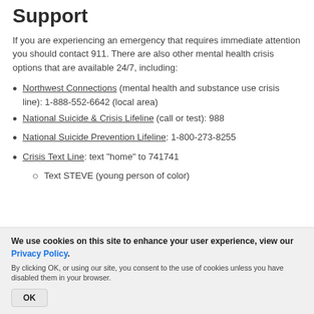Support
If you are experiencing an emergency that requires immediate attention you should contact 911. There are also other mental health crisis options that are available 24/7, including:
Northwest Connections (mental health and substance use crisis line): 1-888-552-6642 (local area)
National Suicide & Crisis Lifeline (call or test): 988
National Suicide Prevention Lifeline: 1-800-273-8255
Crisis Text Line: text "home" to 741741
Text STEVE (young person of color)
We use cookies on this site to enhance your user experience, view our Privacy Policy.
By clicking OK, or using our site, you consent to the use of cookies unless you have disabled them in your browser.